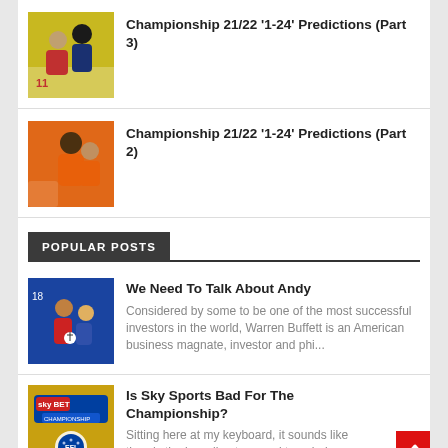[Figure (photo): Sports players on a yellow/green background - Championship predictions part 3]
Championship 21/22 '1-24' Predictions (Part 3)
[Figure (photo): Football player in orange kit - Championship predictions part 2]
Championship 21/22 '1-24' Predictions (Part 2)
POPULAR POSTS
[Figure (photo): Football match action shot - We Need To Talk About Andy article]
We Need To Talk About Andy
Considered by some to be one of the most successful investors in the world, Warren Buffett is an American business magnate, investor and phi...
[Figure (photo): Sky Bet Championship EFL logo - Is Sky Sports Bad For The Championship article]
Is Sky Sports Bad For The Championship?
Sitting here at my keyboard, it sounds like there's the brooding tune and tone being